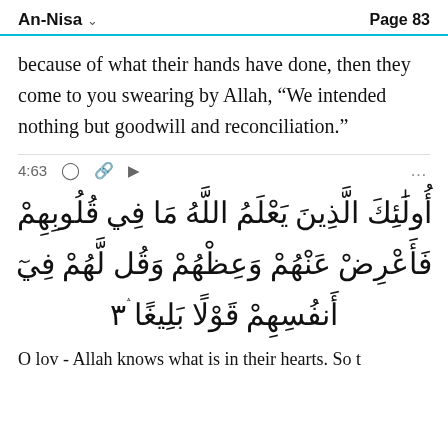An-Nisa   Page 83
because of what their hands have done, then they come to you swearing by Allah, “We intended nothing but goodwill and reconciliation.”
4:63
أولَئِكَ الَّذِينَ يَعلَمُ اللَّهُ مَا فِي قلُوبِهِمْ فَأَعْرِضْ عَنْهُمْ وَعِظْهُمْ وَقُل لَهُمْ فِي أَنفُسِهِمْ قَوْلًا بَلِيغًا ۛ٣
O lov - Allah knows what is in their hearts. So t